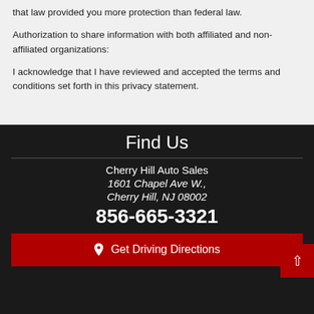that law provided you more protection than federal law.
Authorization to share information with both affiliated and non-affiliated organizations:
I acknowledge that I have reviewed and accepted the terms and conditions set forth in this privacy statement.
Find Us
Cherry Hill Auto Sales
1601 Chapel Ave W.,
Cherry Hill, NJ 08002
856-665-3321
Get Driving Directions
Dealer Car Search Login | Copyright 2022 | Sitemap